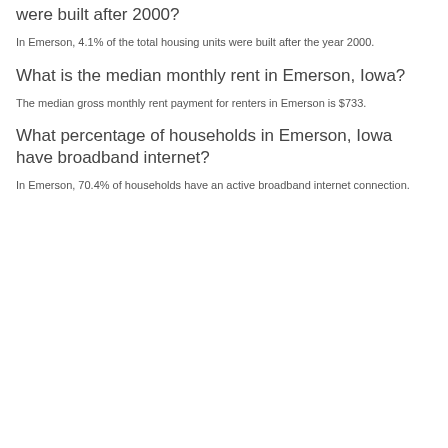were built after 2000?
In Emerson, 4.1% of the total housing units were built after the year 2000.
What is the median monthly rent in Emerson, Iowa?
The median gross monthly rent payment for renters in Emerson is $733.
What percentage of households in Emerson, Iowa have broadband internet?
In Emerson, 70.4% of households have an active broadband internet connection.